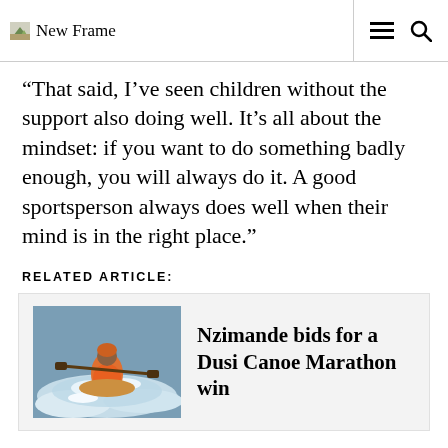New Frame
“That said, I’ve seen children without the support also doing well. It’s all about the mindset: if you want to do something badly enough, you will always do it. A good sportsperson always does well when their mind is in the right place.”
RELATED ARTICLE:
[Figure (photo): Person kayaking through rapids wearing an orange life jacket]
Nzimande bids for a Dusi Canoe Marathon win